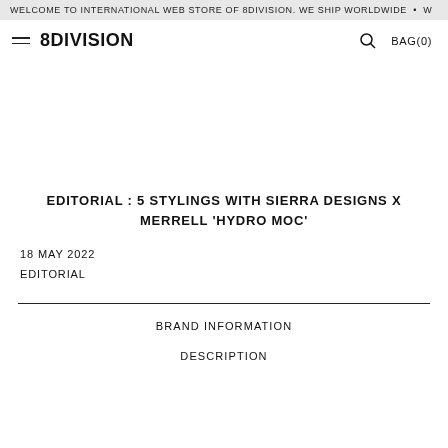WELCOME TO INTERNATIONAL WEB STORE OF 8DIVISION. WE SHIP WORLDWIDE • W
≡  8DIVISION    🔍  BAG(0)
EDITORIAL : 5 STYLINGS WITH SIERRA DESIGNS X MERRELL 'HYDRO MOC'
18 MAY 2022
EDITORIAL
BRAND INFORMATION
DESCRIPTION